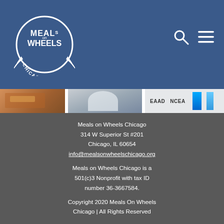Meals on Wheels Chicago — navigation header with logo, search icon, hamburger menu
[Figure (logo): Meals on Wheels Chicago circular logo with rainbow arc and text MEALS on WHEELS CHICAGO]
[Figure (photo): Horizontal image strip showing three photo segments: people sharing food, a figure in white, and a sign with EAAD and NCEA logos]
Meals on Wheels Chicago
314 W Superior St #201
Chicago, IL 60654
info@mealsonwheelschicago.org

Meals on Wheels Chicago is a 501(c)3 Nonprofit with tax ID number 36-3667584.

Copyright 2020 Meals On Wheels Chicago | All Rights Reserved